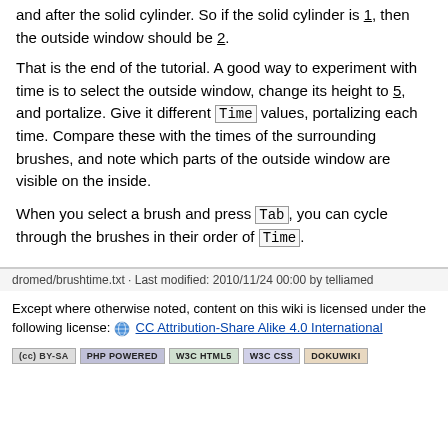and after the solid cylinder. So if the solid cylinder is 1, then the outside window should be 2.
That is the end of the tutorial. A good way to experiment with time is to select the outside window, change its height to 5, and portalize. Give it different Time values, portalizing each time. Compare these with the times of the surrounding brushes, and note which parts of the outside window are visible on the inside.
When you select a brush and press Tab, you can cycle through the brushes in their order of Time.
dromed/brushtime.txt · Last modified: 2010/11/24 00:00 by telliamed
Except where otherwise noted, content on this wiki is licensed under the following license: CC Attribution-Share Alike 4.0 International
[Figure (other): Row of five license/technology badge images: CC BY-SA, PHP POWERED, W3C HTML5, W3C CSS, DokuWiki]